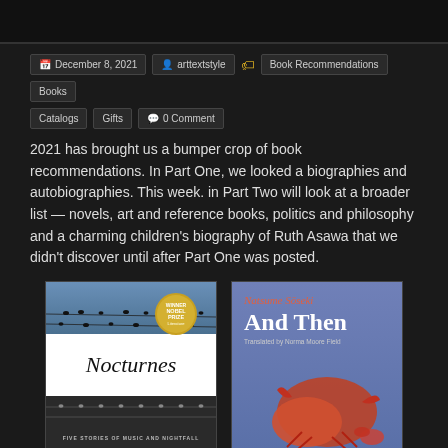December 8, 2021   arttextstyle   Book Recommendations   Books   Catalogs   Gifts   0 Comment
2021 has brought us a bumper crop of book recommendations. In Part One, we looked a biographies and autobiographies. This week. in Part Two will look at a broader list — novels, art and reference books, politics and philosophy and a charming children's biography of Ruth Asawa that we didn't discover until after Part One was posted.
[Figure (photo): Book cover of Nocturnes by Kazuo Ishiguro, Nobel Prize winner. Shows a sky with birds on wires, with white middle section showing the title.]
[Figure (photo): Book cover of And Then by Natsume Soseki, translated by Norma Moore Field. Blue background with red crabs or lobsters illustration.]